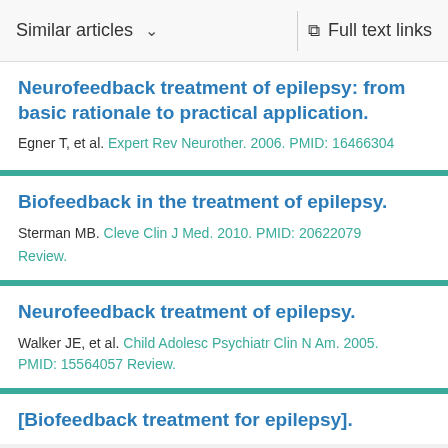Similar articles  ∨    Full text links
Neurofeedback treatment of epilepsy: from basic rationale to practical application.
Egner T, et al. Expert Rev Neurother. 2006. PMID: 16466304
Biofeedback in the treatment of epilepsy.
Sterman MB. Cleve Clin J Med. 2010. PMID: 20622079
Review.
Neurofeedback treatment of epilepsy.
Walker JE, et al. Child Adolesc Psychiatr Clin N Am. 2005.
PMID: 15564057 Review.
[Biofeedback treatment for epilepsy].